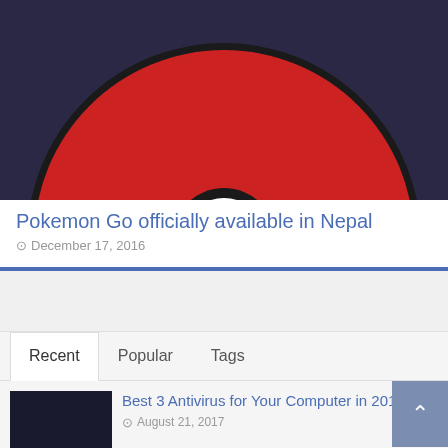[Figure (illustration): Pokeball illustration on dark navy/purple background - red top half, white bottom half, black center button with white ring, black outline border]
Pokemon Go officially available in Nepal
December 17, 2016
Recent | Popular | Tags
[Figure (screenshot): Dark thumbnail image with 'Security' text in teal/blue color]
Best 3 Antivirus for Your Computer in 2017
August 21, 2017